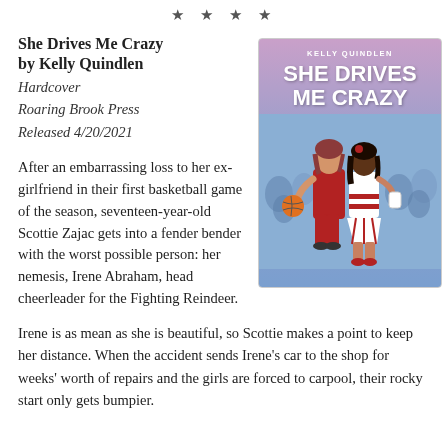★ ★ ★ ★
She Drives Me Crazy
by Kelly Quindlen
Hardcover
Roaring Brook Press
Released 4/20/2021
[Figure (illustration): Book cover of 'She Drives Me Crazy' by Kelly Quindlen showing two teenage girls (one in basketball uniform holding a ball, one in cheerleader outfit) standing back to back against a crowd background, with pink-to-blue gradient top.]
After an embarrassing loss to her ex-girlfriend in their first basketball game of the season, seventeen-year-old Scottie Zajac gets into a fender bender with the worst possible person: her nemesis, Irene Abraham, head cheerleader for the Fighting Reindeer.
Irene is as mean as she is beautiful, so Scottie makes a point to keep her distance. When the accident sends Irene's car to the shop for weeks' worth of repairs and the girls are forced to carpool, their rocky start only gets bumpier.